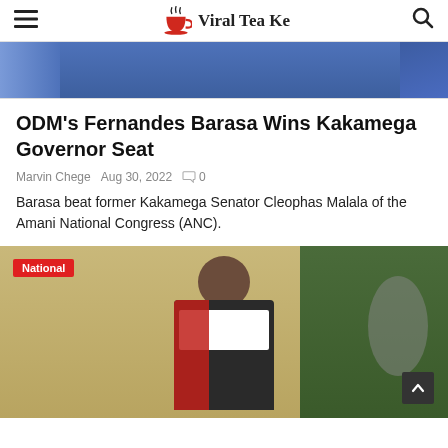Viral Tea Ke
[Figure (photo): Top portion of a photo showing a person in a blue suit, partially visible, likely at a podium or official setting.]
ODM's Fernandes Barasa Wins Kakamega Governor Seat
Marvin Chege  Aug 30, 2022  0
Barasa beat former Kakamega Senator Cleophas Malala of the Amani National Congress (ANC).
[Figure (photo): A woman in judicial robes (red and black) with glasses, seated in a chair, with a fan visible in the background. A 'National' category badge is overlaid in red on the top-left.]